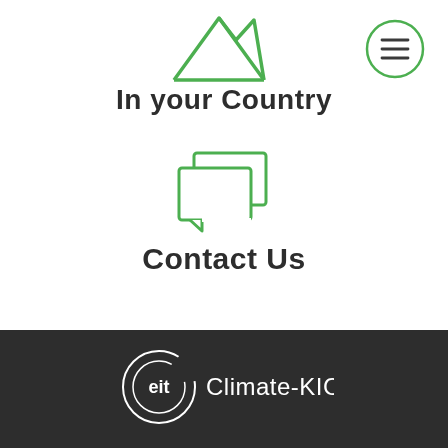[Figure (illustration): Green outline mountain/landscape icon at top center]
[Figure (illustration): Green circle with three horizontal lines (hamburger menu) icon at top right]
In your Country
[Figure (illustration): Green outline chat/speech bubbles icon in center]
Contact Us
[Figure (logo): EIT Climate-KIC logo in white on dark background at bottom]